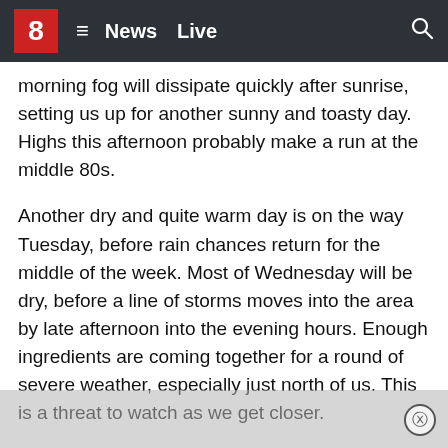8 ≡ News  Live  🔍
morning fog will dissipate quickly after sunrise, setting us up for another sunny and toasty day. Highs this afternoon probably make a run at the middle 80s.
Another dry and quite warm day is on the way Tuesday, before rain chances return for the middle of the week. Most of Wednesday will be dry, before a line of storms moves into the area by late afternoon into the evening hours. Enough ingredients are coming together for a round of severe weather, especially just north of us. This is a threat to watch as we get closer.
Once this boundary moves through, we're not as warm to round out the week, though highs only fall back into the 70s. Clouds are likely to linger through Friday as an unsettled weather pattern moves in. Another rain chance develops on Saturday.